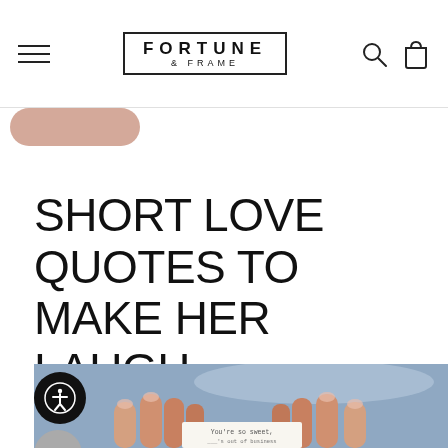FORTUNE & FRAME — navigation header with logo, hamburger menu, search and cart icons
SHORT LOVE QUOTES TO MAKE HER LAUGH
[Figure (photo): Photo of two hands holding a small folded paper fortune cookie note that reads 'You're so sweet...' against a blue background, with accessibility and chat widget buttons overlaid on the left side]